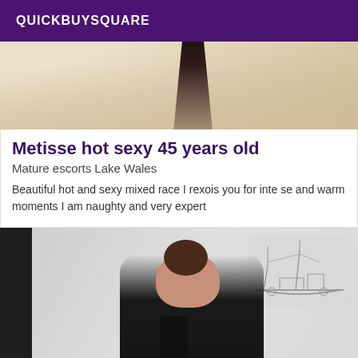QUICKBUYSQUARE
[Figure (photo): Partial photo showing beige/tan fabric and a dark triangular shape at top]
Metisse hot sexy 45 years old
Mature escorts Lake Wales
Beautiful hot and sexy mixed race I rexois you for inte se and warm moments I am naughty and very expert
[Figure (photo): Mirror selfie of a woman with dark hair up, wearing a black off-shoulder top, holding a phone, with a ship sketch artwork visible in the background]